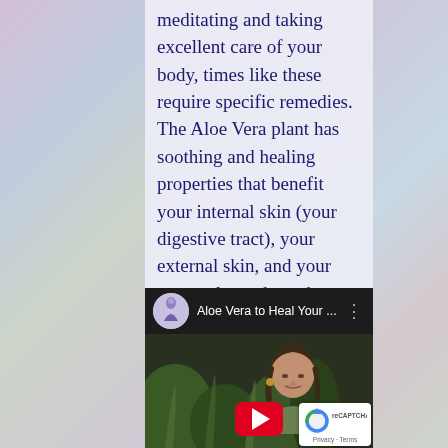meditating and taking excellent care of your body, times like these require specific remedies. The Aloe Vera plant has soothing and healing properties that benefit your internal skin (your digestive tract), your external skin, and your personal aura boundary (your energy skin). Watch this video to learn more.
[Figure (screenshot): Embedded YouTube video thumbnail titled 'Aloe Vera to Heal Your ...' showing a person with dark hair outdoors among green plants with aloe. A red YouTube play button appears at the bottom center. A reCAPTCHA badge appears in the bottom right corner with 'Privacy · Terms' text.]